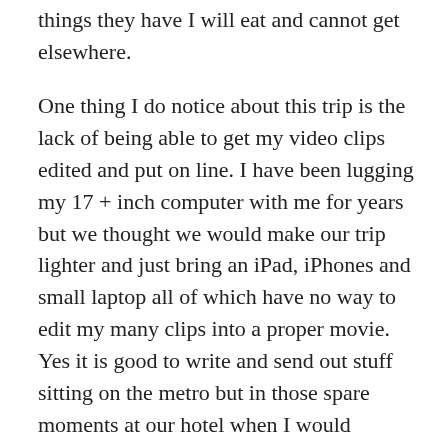things they have I will eat and cannot get elsewhere.
One thing I do notice about this trip is the lack of being able to get my video clips edited and put on line. I have been lugging my 17 + inch computer with me for years but we thought we would make our trip lighter and just bring an iPad, iPhones and small laptop all of which have no way to edit my many clips into a proper movie. Yes it is good to write and send out stuff sitting on the metro but in those spare moments at our hotel when I would normally be putting together my clips I now just look at hundreds of photos with no way to edit my video. So already I know what I will be doing when I return home on Sunday for a day. I will have at least three youtube clips ready to go before Monday because nothing says it better than a movie.